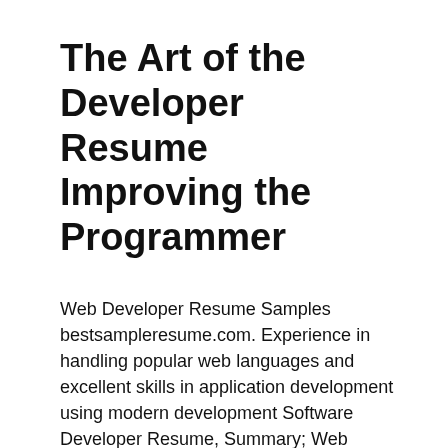The Art of the Developer Resume Improving the Programmer
Web Developer Resume Samples bestsampleresume.com. Experience in handling popular web languages and excellent skills in application development using modern development Software Developer Resume, Summary; Web Development Jobs resume and cover letter. What's